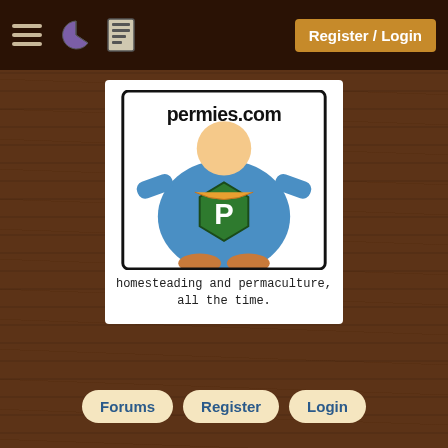Register / Login
[Figure (logo): permies.com logo with superhero figure wearing blue outfit and green P shield, cartoon style. Tagline: homesteading and permaculture, all the time.]
homesteading and permaculture, all the time.
Forums | Register | Login
filter the currently displayed list by forum:
All
Go
hot, fast composting temperatures